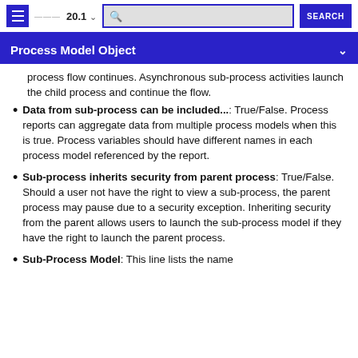20.1 | SEARCH
Process Model Object
process flow continues. Asynchronous sub-process activities launch the child process and continue the flow.
Data from sub-process can be included...: True/False. Process reports can aggregate data from multiple process models when this is true. Process variables should have different names in each process model referenced by the report.
Sub-process inherits security from parent process: True/False. Should a user not have the right to view a sub-process, the parent process may pause due to a security exception. Inheriting security from the parent allows users to launch the sub-process model if they have the right to launch the parent process.
Sub-Process Model: This line lists the name